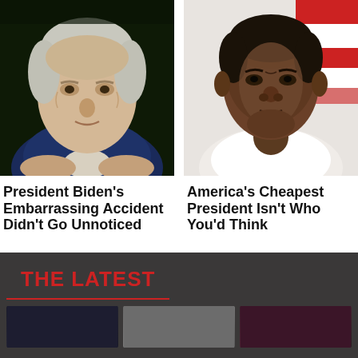[Figure (photo): Close-up photo of President Biden speaking, wearing a blue jacket, looking concerned]
[Figure (photo): Close-up photo of Barack Obama looking serious, in a white shirt, with red and white background]
President Biden's Embarrassing Accident Didn't Go Unnoticed
America's Cheapest President Isn't Who You'd Think
THE LATEST
[Figure (photo): Three small thumbnail images in a dark bar section]
[Figure (photo): Thumbnail 2]
[Figure (photo): Thumbnail 3]